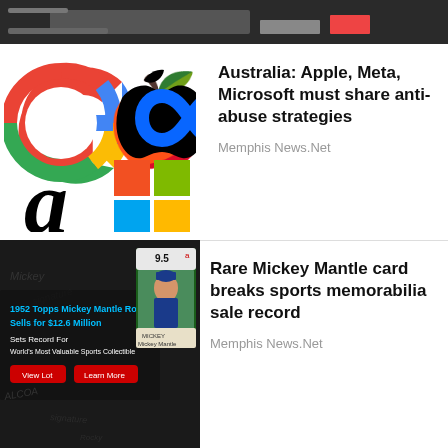[Figure (screenshot): Partial screenshot of a chart or app at the top of the page, dark background with white text elements]
[Figure (illustration): Composite image of tech company logos: Google, Apple, Meta (infinity symbol), Amazon, Microsoft]
Australia: Apple, Meta, Microsoft must share anti-abuse strategies
Memphis News.Net
[Figure (photo): Image of a 1952 Topps Mickey Mantle Rookie Card with grading label 9.5, advertisement for record sale of $12.6 million]
Rare Mickey Mantle card breaks sports memorabilia sale record
Memphis News.Net